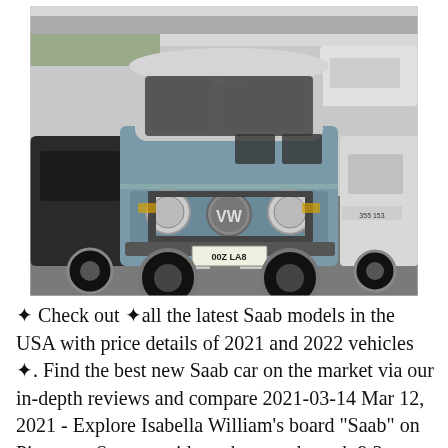[Figure (photo): Black and white photo of a vintage Volkswagen T2 microbus/van parked in a car park, with license plate '00Z LA8'. A black car is visible on the left and a white car on the right. Road markings visible on the ground.]
✦ Check out ✦all the latest Saab models in the USA with price details of 2021 and 2022 vehicles ✦. Find the best new Saab car on the market via our in-depth reviews and compare 2021-03-14 Mar 12, 2021 - Explore Isabella William's board "Saab" on Pinterest. See more ideas about saab, saab 9 3, car